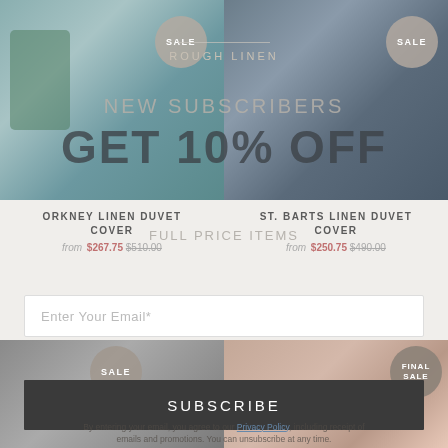[Figure (photo): Two bedroom photos side by side showing linen bedding - left photo with teal/blue duvet, right photo with grey duvet, both with SALE badges]
ROUGH LINEN
NEW SUBSCRIBERS
GET 10% OFF
ORKNEY LINEN DUVET COVER
from $267.75 $510.00
FULL PRICE ITEMS
ST. BARTS LINEN DUVET COVER
from $250.75 $490.00
Enter Your Email*
[Figure (photo): Two bedroom photos side by side - left with grey bedding (SALE badge), right with blush/pink bedding (FINAL SALE badge)]
SUBSCRIBE
By entering your email, you agree to our Privacy Policy, including receipt of emails and promotions. You can unsubscribe at any time.